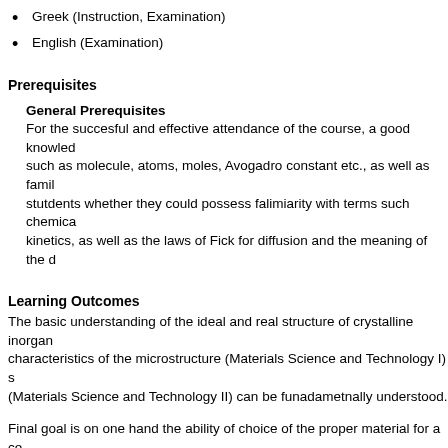Greek (Instruction, Examination)
English (Examination)
Prerequisites
General Prerequisites
For the succesful and effective attendance of the course, a good knowled such as molecule, atoms, moles, Avogadro constant etc., as well as famil stutdents whether they could possess falimiarity with terms such chemica kinetics, as well as the laws of Fick for diffusion and the meaning of the d
Learning Outcomes
The basic understanding of the ideal and real structure of crystalline inorgan characteristics of the microstructure (Materials Science and Technology I) s (Materials Science and Technology II) can be funadametnally understood.
Final goal is on one hand the ability of choice of the proper material for a ce a materials structure and microstructure in order to tailor its behaviour towar
General Competences
Apply knowledge in practice
Retrieve, analyse and synthesise data and information, with the use of n
Make decisions